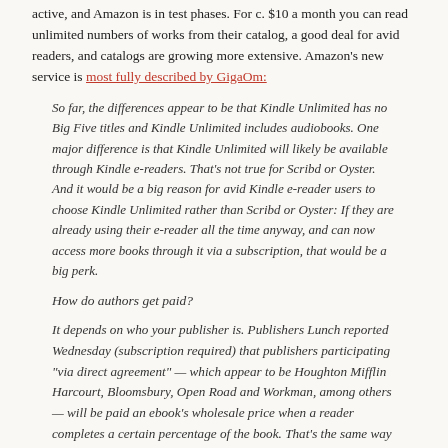active, and Amazon is in test phases. For c. $10 a month you can read unlimited numbers of works from their catalog, a good deal for avid readers, and catalogs are growing more extensive. Amazon's new service is most fully described by GigaOm:
So far, the differences appear to be that Kindle Unlimited has no Big Five titles and Kindle Unlimited includes audiobooks. One major difference is that Kindle Unlimited will likely be available through Kindle e-readers. That's not true for Scribd or Oyster. And it would be a big reason for avid Kindle e-reader users to choose Kindle Unlimited rather than Scribd or Oyster: If they are already using their e-reader all the time anyway, and can now access more books through it via a subscription, that would be a big perk.
How do authors get paid?
It depends on who your publisher is. Publishers Lunch reported Wednesday (subscription required) that publishers participating "via direct agreement" — which appear to be Houghton Mifflin Harcourt, Bloomsbury, Open Road and Workman, among others — will be paid an ebook's wholesale price when a reader completes a certain percentage of the book. That's the same way that Scribd and Oyster operate.